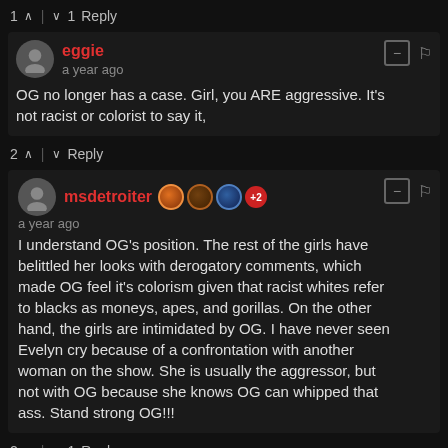1 ^ | v 1 Reply
eggie
a year ago
OG no longer has a case. Girl, you ARE aggressive. It's not racist or colorist to say it,
2 ^ | v Reply
msdetroiter
a year ago
I understand OG's position. The rest of the girls have belittled her looks with derogatory comments, which made OG feel it's colorism given that racist whites refer to blacks as moneys, apes, and gorillas. On the other hand, the girls are intimidated by OG. I have never seen Evelyn cry because of a confrontation with another woman on the show. She is usually the aggressor, but not with OG because she knows OG can whipped that ass. Stand strong OG!!!
2 ^ | v 1 Reply
TONI → msdetroiter
a year ago